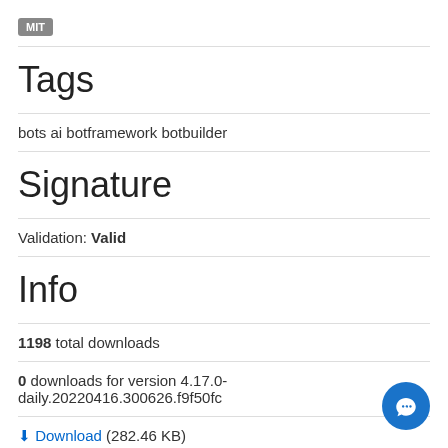[Figure (logo): MIT badge/label in grey rounded rectangle]
Tags
bots ai botframework botbuilder
Signature
Validation: Valid
Info
1198 total downloads
0 downloads for version 4.17.0-daily.20220416.300626.f9f50fc
Download (282.46 KB)